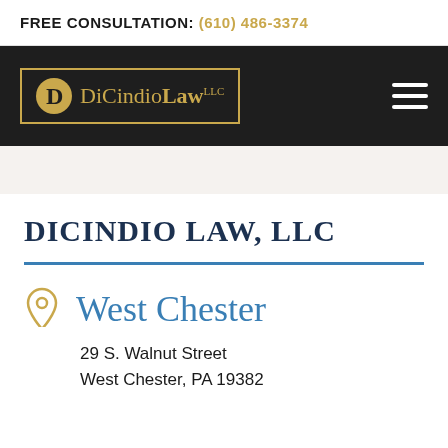FREE CONSULTATION: (610) 486-3374
[Figure (logo): DiCindio Law LLC logo with gold D icon and border on dark background]
DICINDIO LAW, LLC
West Chester
29 S. Walnut Street
West Chester, PA 19382